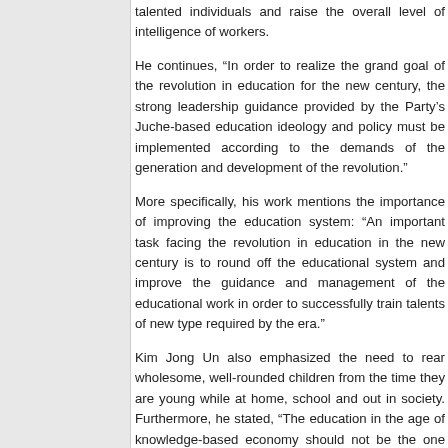talented individuals and raise the overall level of intelligence of workers.
He continues, “In order to realize the grand goal of the revolution in education for the new century, the strong leadership guidance provided by the Party’s Juche-based education ideology and policy must be implemented according to the demands of the generation and development of the revolution.”
More specifically, his work mentions the importance of improving the education system: “An important task facing the revolution in education in the new century is to round off the educational system and improve the guidance and management of the educational work in order to successfully train talents of new type required by the era.”
Kim Jong Un also emphasized the need to rear wholesome, well-rounded children from the time they are young while at home, school and out in society. Furthermore, he stated, “The education in the age of knowledge-based economy should not be the one for letting students learn existing knowledge but it should be developed in the direction of putting its contents on a practical, comprehensive and modern basis so that students may grasp faster new and useful knowledge and more successfully apply them in practice.”
In order to accomplish this, Kim Jong Un said, “All the fields should regard the educational work as part of their work, always pay deep attention to it and help solve the issues arising in the field of education in a responsible manner.”
ORIGINAL POST (2014-9-4): According to KCNA: